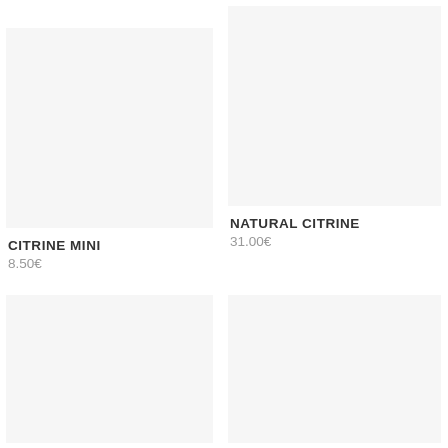English
[Figure (photo): Product image placeholder for Citrine Mini, light gray background]
CITRINE MINI
8.50€
[Figure (photo): Product image placeholder for Natural Citrine, light gray background]
NATURAL CITRINE
31.00€
[Figure (photo): Product image placeholder, bottom left, light gray background]
[Figure (photo): Product image placeholder, bottom right, light gray background]